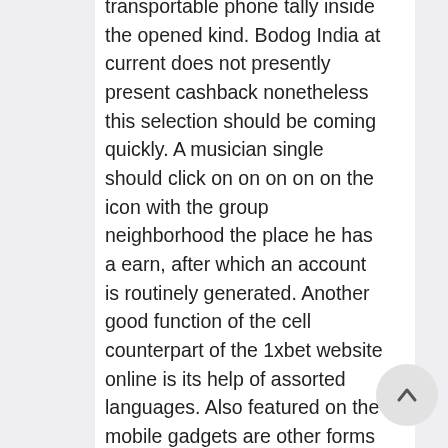transportable phone tally inside the opened kind. Bodog India at current does not presently present cashback nonetheless this selection should be coming quickly. A musician single should click on on on on on the icon with the group neighborhood the place he has a earn, after which an account is routinely generated. Another good function of the cell counterpart of the 1xbet website online is its help of assorted languages. Also featured on the mobile gadgets are other forms of casino favorites like slots and provider games and even bingo. No matter the way you select to get your playing on, the app